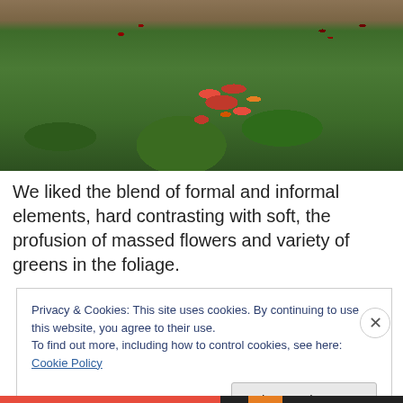[Figure (photo): Garden photo showing tall plants with red flower spikes and orange-red daylilies in front of a brick wall, with lush green foliage throughout.]
We liked the blend of formal and informal elements, hard contrasting with soft, the profusion of massed flowers and variety of greens in the foliage.
Privacy & Cookies: This site uses cookies. By continuing to use this website, you agree to their use.
To find out more, including how to control cookies, see here: Cookie Policy
Close and accept